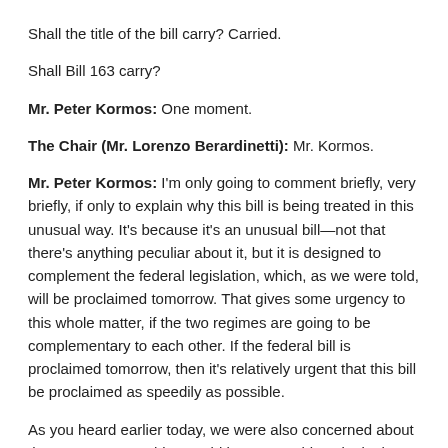Shall the title of the bill carry? Carried.
Shall Bill 163 carry?
Mr. Peter Kormos: One moment.
The Chair (Mr. Lorenzo Berardinetti): Mr. Kormos.
Mr. Peter Kormos: I'm only going to comment briefly, very briefly, if only to explain why this bill is being treated in this unusual way. It's because it's an unusual bill—not that there's anything peculiar about it, but it is designed to complement the federal legislation, which, as we were told, will be proclaimed tomorrow. That gives some urgency to this whole matter, if the two regimes are going to be complementary to each other. If the federal bill is proclaimed tomorrow, then it's relatively urgent that this bill be proclaimed as speedily as possible.
As you heard earlier today, we were also concerned about the prospect—anything could happen at this point in the